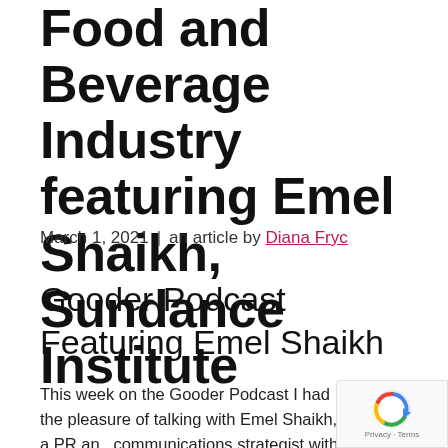Food and Beverage Industry featuring Emel Shaikh, Sundance Institute
March 1, 2021  |  an article by Diana Fryc
Gooder Podcast Featuring Emel Shaikh
This week on the Gooder Podcast I had the pleasure of talking with Emel Shaikh, a PR and communications strategist with more than 10...